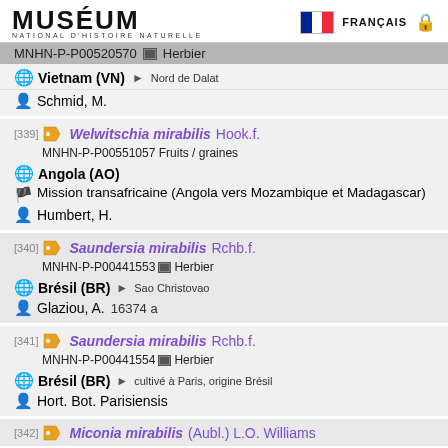MUSÉUM NATIONAL D'HISTOIRE NATURELLE | FRANÇAIS
MNHN-P-P00520570 Herbier
Vietnam (VN) > Nord de Dalat
Schmid, M.
[339] Welwitschia mirabilis Hook.f. MNHN-P-P00551057 Fruits / graines | Angola (AO) | Mission transafricaine (Angola vers Mozambique et Madagascar) | Humbert, H.
[340] Saundersia mirabilis Rchb.f. MNHN-P-P00441553 Herbier | Brésil (BR) > Sao Christovao | Glaziou, A. 16374 a
[341] Saundersia mirabilis Rchb.f. MNHN-P-P00441554 Herbier | Brésil (BR) > cultivé à Paris, origine Brésil | Hort. Bot. Parisiensis
[342] Miconia mirabilis (Aubl.) L.O. Williams